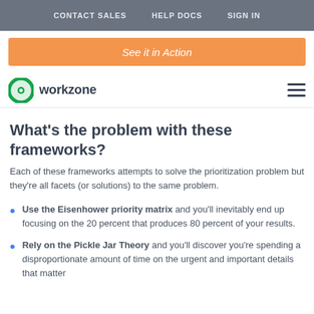CONTACT SALES   HELP DOCS   SIGN IN
See it in Action
[Figure (logo): Workzone logo: circular green/teal ring icon with white dot center, followed by 'workzone' in dark bold text]
What’s the problem with these frameworks?
Each of these frameworks attempts to solve the prioritization problem but they’re all facets (or solutions) to the same problem.
Use the Eisenhower priority matrix and you’ll inevitably end up focusing on the 20 percent that produces 80 percent of your results.
Rely on the Pickle Jar Theory and you’ll discover you’re spending a disproportionate amount of time on the urgent and important details that matter